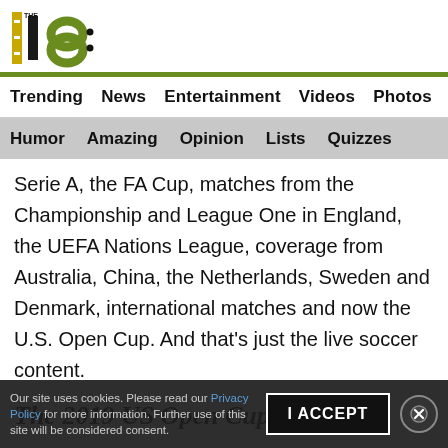THE 18 [logo]
Trending  News  Entertainment  Videos  Photos  Players
Humor  Amazing  Opinion  Lists  Quizzes
Serie A, the FA Cup, matches from the Championship and League One in England, the UEFA Nations League, coverage from Australia, China, the Netherlands, Sweden and Denmark, international matches and now the U.S. Open Cup. And that's just the live soccer content.
The 2019 US Open Cup
The 2019 Cup will feature 84 clubs from MLS down to the amateur ranks. While MLS, USL and USL League One teams are all entered into the tournament, qualification for
Our site uses cookies. Please read our Privacy Policy for more information. Further use of this site will be considered consent.